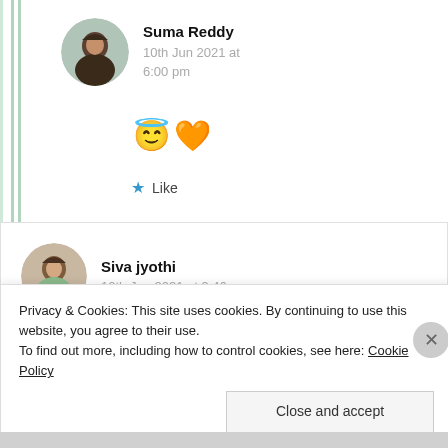[Figure (photo): Circular avatar photo of Suma Reddy]
Suma Reddy
10th Jun 2021 at 6:00 pm
😇🧡
★ Like
[Figure (photo): Circular avatar photo of Siva jyothi]
Siva jyothi
10th Jun 2021 at 9:46 am
Privacy & Cookies: This site uses cookies. By continuing to use this website, you agree to their use.
To find out more, including how to control cookies, see here: Cookie Policy
Close and accept